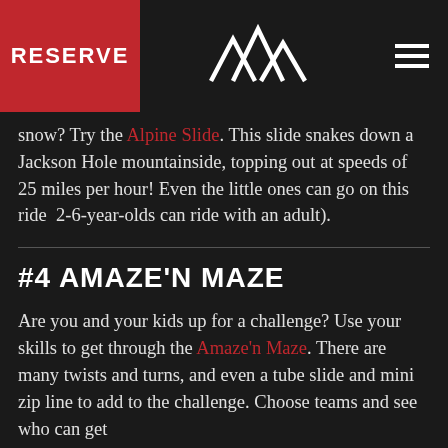RESERVE
snow? Try the Alpine Slide. This slide snakes down a Jackson Hole mountainside, topping out at speeds of 25 miles per hour! Even the little ones can go on this ride  2-6-year-olds can ride with an adult).
#4 AMAZE'N MAZE
Are you and your kids up for a challenge? Use your skills to get through the Amaze'n Maze. There are many twists and turns, and even a tube slide and mini zip line to add to the challenge. Choose teams and see who can get